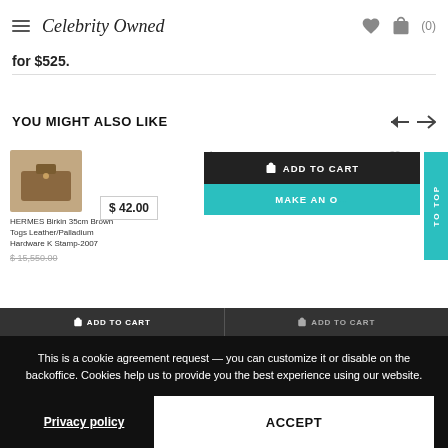Celebrity Owned  (0)
for $525.
YOU MIGHT ALSO LIKE
[Figure (screenshot): Product card: HERMES Birkin 35cm Brown Togs Leather/Palladium Hardware K Stamp-2007, price $15,550.00]
[Figure (screenshot): Product card: Autumn Cashmere Sweater Purple Cashmere Size M Mock Neck Pullover, price $98.00]
[Figure (screenshot): Add to Cart overlay popup with price $42.00, ADD TO CART button, MAKE AN OFFER button, and TO TOP strip]
ADD TO CART
ADD TO CART
This is a cookie agreement request — you can customize it or disable on the backoffice. Cookies help us to provide you the best experience using our website.
Privacy policy
ACCEPT